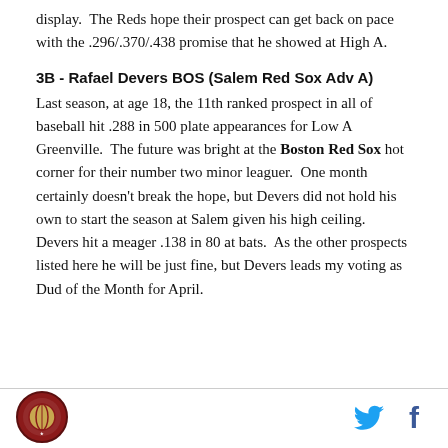display.  The Reds hope their prospect can get back on pace with the .296/.370/.438 promise that he showed at High A.
3B - Rafael Devers BOS (Salem Red Sox Adv A)
Last season, at age 18, the 11th ranked prospect in all of baseball hit .288 in 500 plate appearances for Low A Greenville.  The future was bright at the Boston Red Sox hot corner for their number two minor leaguer.  One month certainly doesn't break the hope, but Devers did not hold his own to start the season at Salem given his high ceiling.  Devers hit a meager .138 in 80 at bats.  As the other prospects listed here he will be just fine, but Devers leads my voting as Dud of the Month for April.
[Figure (logo): Circular sports logo at bottom left of page]
[Figure (logo): Twitter bird icon at bottom right]
[Figure (logo): Facebook f icon at bottom right]